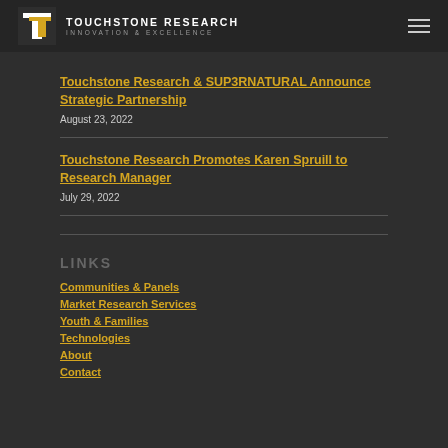TOUCHSTONE RESEARCH | INNOVATION & EXCELLENCE
Touchstone Research & SUP3RNATURAL Announce Strategic Partnership
August 23, 2022
Touchstone Research Promotes Karen Spruill to Research Manager
July 29, 2022
LINKS
Communities & Panels
Market Research Services
Youth & Families
Technologies
About
Contact